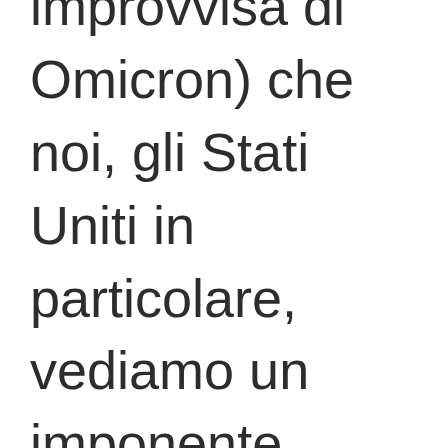improvvisa di Omicron) che noi, gli Stati Uniti in particolare, vediamo un imponente sconvolgimento delle catene